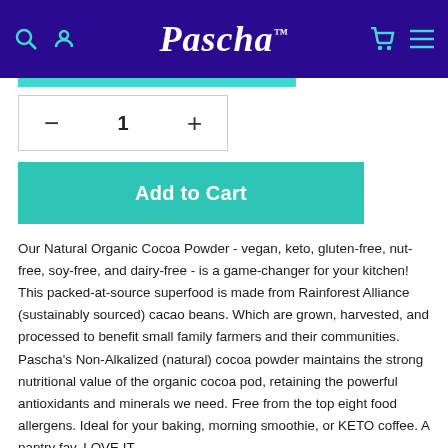Pascha
Add to Cart
Our Natural Organic Cocoa Powder - vegan, keto, gluten-free, nut-free, soy-free, and dairy-free - is a game-changer for your kitchen! This packed-at-source superfood is made from Rainforest Alliance (sustainably sourced) cacao beans. Which are grown, harvested, and processed to benefit small family farmers and their communities. Pascha's Non-Alkalized (natural) cocoa powder maintains the strong nutritional value of the organic cocoa pod, retaining the powerful antioxidants and minerals we need. Free from the top eight food allergens. Ideal for your baking, morning smoothie, or KETO coffee. A pantry fav. LOVE IT...